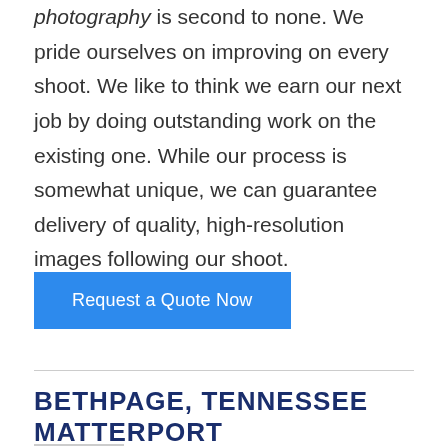photography is second to none. We pride ourselves on improving on every shoot. We like to think we earn our next job by doing outstanding work on the existing one. While our process is somewhat unique, we can guarantee delivery of quality, high-resolution images following our shoot.
Request a Quote Now
BETHPAGE, TENNESSEE MATTERPORT